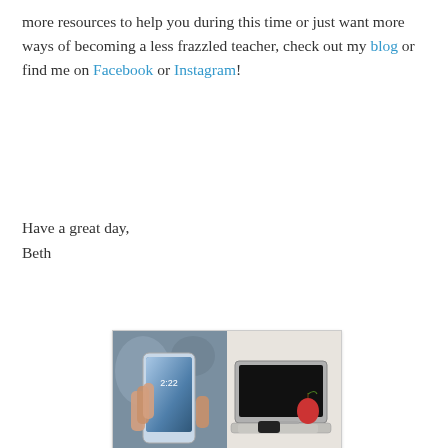more resources to help you during this time or just want more ways of becoming a less frazzled teacher, check out my blog or find me on Facebook or Instagram!
Have a great day,
Beth
[Figure (illustration): Promotional card showing a smartphone and laptop on top, text 'How to Call/Text Parents WITHOUT Giving Them Your Phone Number' in the middle, and a person texting on a phone at the bottom.]